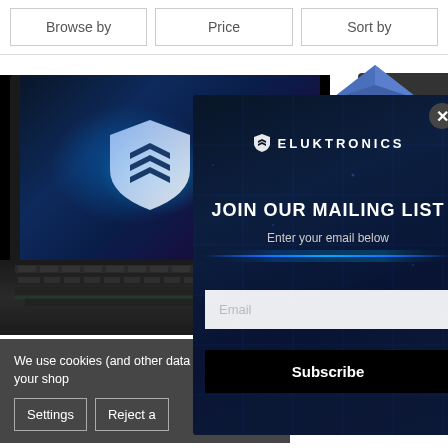Browse by
Price
Sort by
[Figure (screenshot): Sale diamond badge in blue]
[Figure (photo): Gaming laptop with blue illuminated Eluktronics shield logo on screen and keyboard]
[Figure (screenshot): Eluktronics email signup popup with dark blue tech background, logo, JOIN OUR MAILING LIST heading, email input and Subscribe button]
We use cookies (and other data to improve your shop
Settings
Reject a